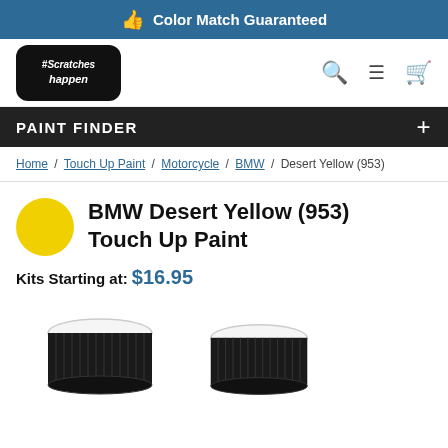Color Match Guaranteed
[Figure (logo): #Scratches Happen logo with search, menu, and cart icons]
PAINT FINDER
Home / Touch Up Paint / Motorcycle / BMW / Desert Yellow (953)
BMW Desert Yellow (953) Touch Up Paint
Kits Starting at: $16.95
[Figure (photo): Two black paint bottle caps viewed from slightly above, side by side]